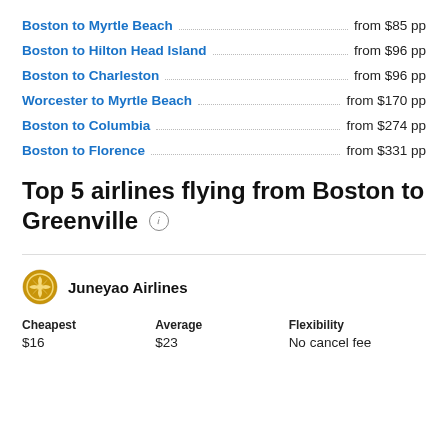Boston to Myrtle Beach ... from $85 pp
Boston to Hilton Head Island ... from $96 pp
Boston to Charleston ... from $96 pp
Worcester to Myrtle Beach ... from $170 pp
Boston to Columbia ... from $274 pp
Boston to Florence ... from $331 pp
Top 5 airlines flying from Boston to Greenville
| Cheapest | Average | Flexibility |
| --- | --- | --- |
| $16 | $23 | No cancel fee |